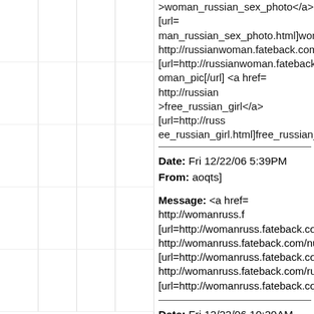>woman_russian_sex_photo</a> [url=man_russian_sex_photo.html]woman_ http://russianwoman.fateback.com/sex [url=http://russianwoman.fateback.com/oman_pic[/url] <a href= http://russianm >free_russian_girl</a> [url=http://russ ee_russian_girl.html]free_russian_girl
Date: Fri 12/22/06 5:39PM
From: aoqts]
Message: <a href= http://womanruss.f [url=http://womanruss.fateback.com/r http://womanruss.fateback.com/nude_ [url=http://womanruss.fateback.com/n http://womanruss.fateback.com/russia [url=http://womanruss.fateback.com/r
Date: Fri 12/22/06 10:20AM
From: xwqeg]
Message: <a href= http://russwonen.a [url=http://russwonen.atspace.com/aaa http://russwonen.atspace.com/free_ho >free_hot_photo_russian_woman</a>